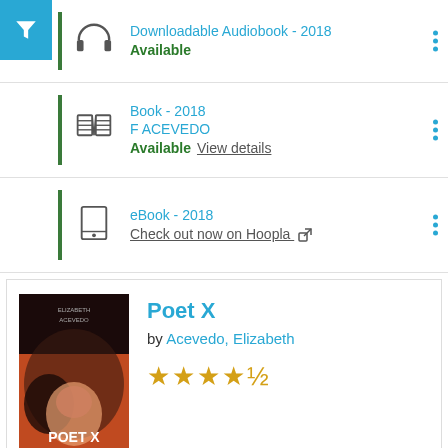[Figure (screenshot): Blue filter/funnel icon button in top-left corner]
Downloadable Audiobook - 2018 | Available
Book - 2018 | F ACEVEDO | Available | View details
eBook - 2018 | Check out now on Hoopla
[Figure (photo): Book cover of Poet X by Elizabeth Acevedo]
Poet X
by Acevedo, Elizabeth
[Figure (other): 4.5 out of 5 stars rating]